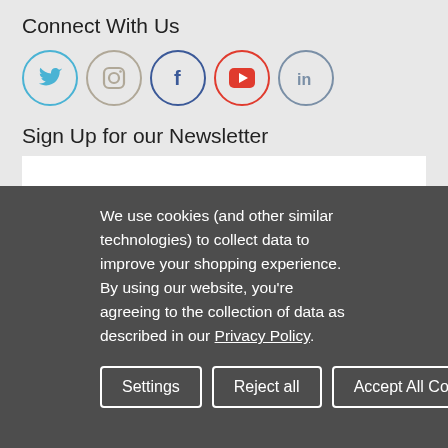Connect With Us
[Figure (infographic): Row of 5 social media icons in circles: Twitter (blue), Instagram (gray), Facebook (dark blue), YouTube (red), LinkedIn (gray-blue)]
Sign Up for our Newsletter
We use cookies (and other similar technologies) to collect data to improve your shopping experience. By using our website, you're agreeing to the collection of data as described in our Privacy Policy.
Settings | Reject all | Accept All Cookies